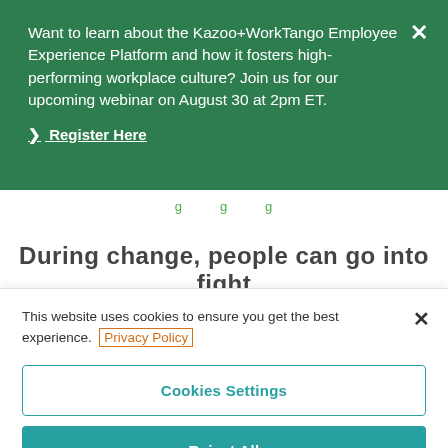Want to learn about the Kazoo+WorkTango Employee Experience Platform and how it fosters high-performing workplace culture? Join us for our upcoming webinar on August 30 at 2pm ET.
❯ Register Here
During change, people can go into fight
This website uses cookies to ensure you get the best experience. Privacy Policy
Cookies Settings
Reject All
Accept All Cookies